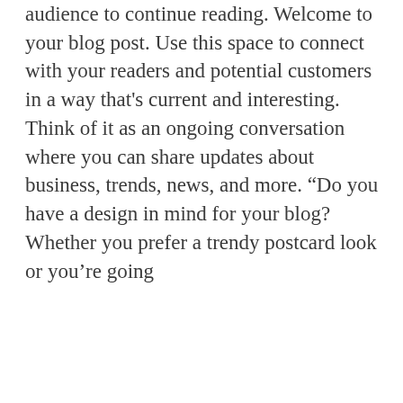audience to continue reading. Welcome to your blog post. Use this space to connect with your readers and potential customers in a way that's current and interesting. Think of it as an ongoing conversation where you can share updates about business, trends, news, and more. “Do you have a design in mind for your blog? Whether you prefer a trendy postcard look or you’re going
1 views  0 comments  heart
[Figure (photo): Close-up photo of a bowl with blueberries, cream or yogurt, and sliced fruit on a light grey ceramic plate, with a blurred grey-blue background.]